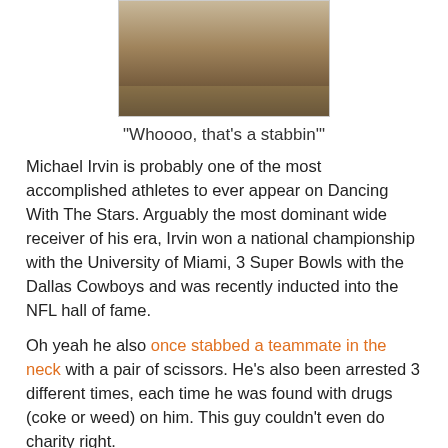[Figure (photo): Cropped photo of a person in a light-colored jacket, hands visible, sitting.]
"Whoooo, that's a stabbin'"
Michael Irvin is probably one of the most accomplished athletes to ever appear on Dancing With The Stars. Arguably the most dominant wide receiver of his era, Irvin won a national championship with the University of Miami, 3 Super Bowls with the Dallas Cowboys and was recently inducted into the NFL hall of fame.
Oh yeah he also once stabbed a teammate in the neck with a pair of scissors. He's also been arrested 3 different times, each time he was found with drugs (coke or weed) on him. This guy couldn't even do charity right.
Michael financed a Cowboys charity basketball team called the Hoopsters that had its own private plane, which was mostly used to hold private parties with their invitation-based hobble…